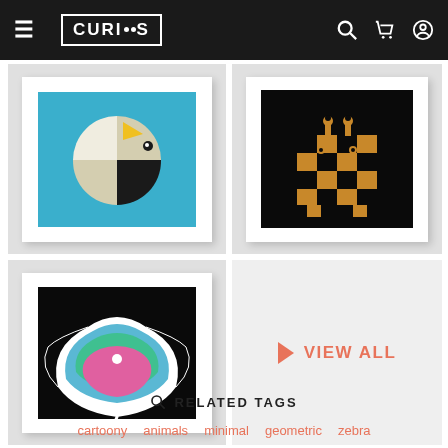CURIOOS
[Figure (illustration): Geometric bird illustration on blue background, framed with white mat]
[Figure (illustration): Checkerboard giraffe illustration on black background, framed with white mat]
[Figure (illustration): Colorful abstract manta ray illustration on black background, framed with white mat]
[Figure (other): View All button on light gray background]
RELATED TAGS
cartoony
animals
minimal
geometric
zebra